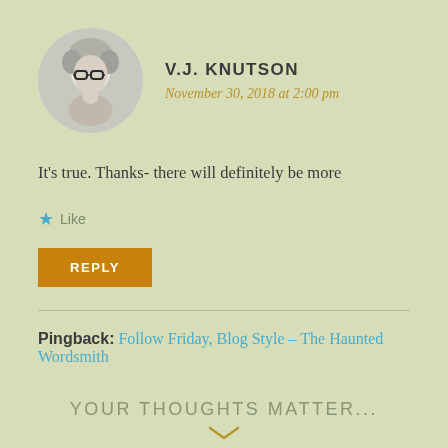[Figure (photo): Circular avatar photo of a person with short blonde hair and glasses, black and white photo]
V.J. KNUTSON
November 30, 2018 at 2:00 pm
It’s true. Thanks- there will definitely be more
★ Like
REPLY
Pingback: Follow Friday, Blog Style – The Haunted Wordsmith
YOUR THOUGHTS MATTER...